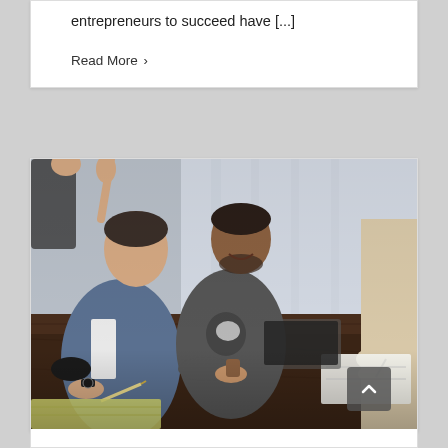entrepreneurs to succeed have [...]
Read More >
[Figure (photo): Group of people sitting around a wooden table in a meeting or workshop setting, with one person in the foreground writing notes with a pen, others visible in the background also seated at the table near a large window.]